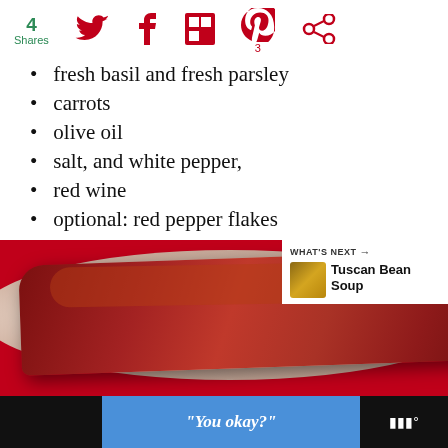4 Shares — social share icons: Twitter, Facebook, Flipboard, Pinterest (3), share circle
fresh basil and fresh parsley
carrots
olive oil
salt, and white pepper,
red wine
optional: red pepper flakes
[Figure (photo): Close-up photo of a glazed meat dish on a red background, with a 'What's Next' overlay showing Tuscan Bean Soup]
“You okay?”
Ad banner with text “You okay?” and weather widget